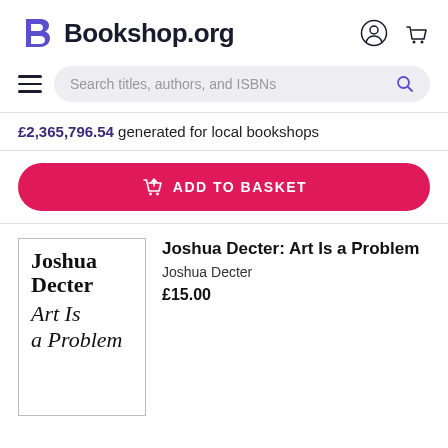Bookshop.org
Search titles, authors, and ISBNs
£2,365,796.54 generated for local bookshops
ADD TO BASKET
[Figure (illustration): Book cover showing 'Joshua Decter Art Is a Problem' in serif font on white background with black border]
Joshua Decter: Art Is a Problem
Joshua Decter
£15.00